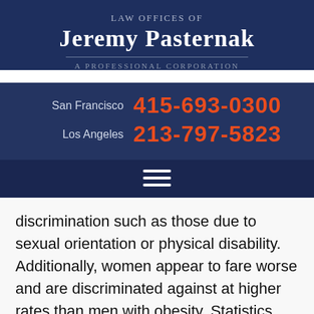Law Offices of Jeremy Pasternak — A Professional Corporation
San Francisco  415-693-0300
Los Angeles  213-797-5823
discrimination such as those due to sexual orientation or physical disability. Additionally, women appear to fare worse and are discriminated against at higher rates than men with obesity. Statistics show that 93% of employers would choose an applicant of